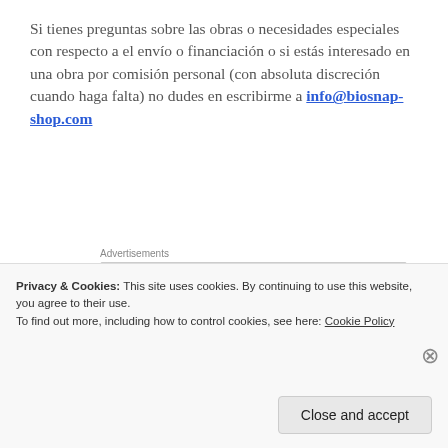Si tienes preguntas sobre las obras o necesidades especiales con respecto a el envío o financiación o si estás interesado en una obra por comisión personal (con absoluta discreción cuando haga falta) no dudes en escribirme a info@biosnap-shop.com
[Figure (other): WordPress VIP advertisement banner with 'Learn more →' button and colorful background with social media logos]
Espero que te gusten estas opciones y que no
Privacy & Cookies: This site uses cookies. By continuing to use this website, you agree to their use. To find out more, including how to control cookies, see here: Cookie Policy
Close and accept